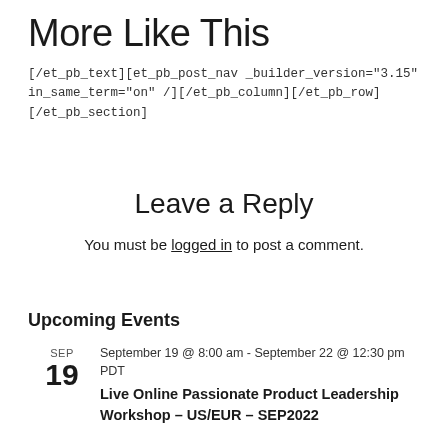More Like This
[/et_pb_text][et_pb_post_nav _builder_version="3.15" in_same_term="on" /][/et_pb_column][/et_pb_row][/et_pb_section]
Leave a Reply
You must be logged in to post a comment.
Upcoming Events
SEP 19 September 19 @ 8:00 am - September 22 @ 12:30 pm PDT Live Online Passionate Product Leadership Workshop – US/EUR – SEP2022